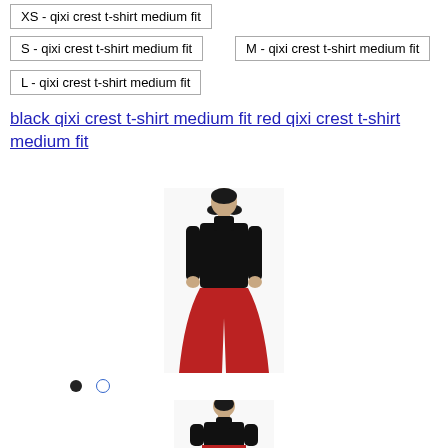XS - qixi crest t-shirt medium fit
S - qixi crest t-shirt medium fit
M - qixi crest t-shirt medium fit
L - qixi crest t-shirt medium fit
black qixi crest t-shirt medium fit red qixi crest t-shirt medium fit
[Figure (photo): Fashion model facing forward wearing black turtleneck top and wide-leg red trousers, full body front view]
[Figure (photo): Fashion model facing backward wearing black turtleneck top and wide-leg red trousers, partial back view]